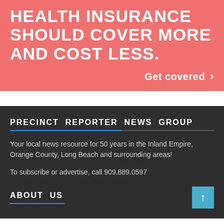HEALTH INSURANCE SHOULD COVER MORE AND COST LESS.
Get covered >
PRECINCT REPORTER NEWS GROUP
Your local news resource for 50 years in the Inland Empire, Orange County, Long Beach and surrounding areas!
To subscribe or advertise, call 909.889.0597
ABOUT US